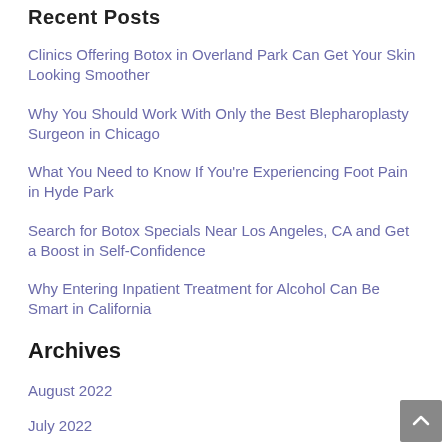Recent Posts
Clinics Offering Botox in Overland Park Can Get Your Skin Looking Smoother
Why You Should Work With Only the Best Blepharoplasty Surgeon in Chicago
What You Need to Know If You're Experiencing Foot Pain in Hyde Park
Search for Botox Specials Near Los Angeles, CA and Get a Boost in Self-Confidence
Why Entering Inpatient Treatment for Alcohol Can Be Smart in California
Archives
August 2022
July 2022
June 2022
May 2022